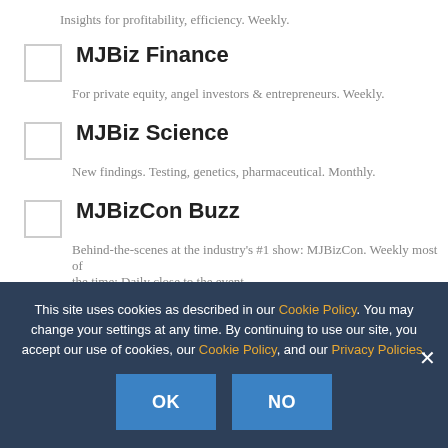Insights for profitability, efficiency. Weekly.
MJBiz Finance
For private equity, angel investors & entrepreneurs. Weekly.
MJBiz Science
New findings. Testing, genetics, pharmaceutical. Monthly.
MJBizCon Buzz
Behind-the-scenes at the industry's #1 show: MJBizCon. Weekly most of the time; Daily close to the event.
Hemp Industry Week
This site uses cookies as described in our Cookie Policy. You may change your settings at any time. By continuing to use our site, you accept our use of cookies, our Cookie Policy, and our Privacy Policies.